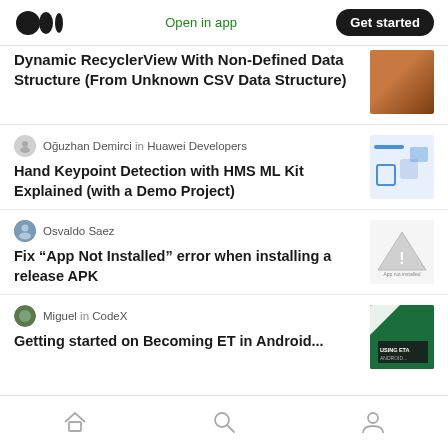Medium logo | Open in app | Get started
Dynamic RecyclerView With Non-Defined Data Structure (From Unknown CSV Data Structure)
Oğuzhan Demirci in Huawei Developers
Hand Keypoint Detection with HMS ML Kit Explained (with a Demo Project)
Osvaldo Saez
Fix “App Not Installed” error when installing a release APK
Miguel in CodeX
Getting started... (partially visible)
Home | Search | Profile